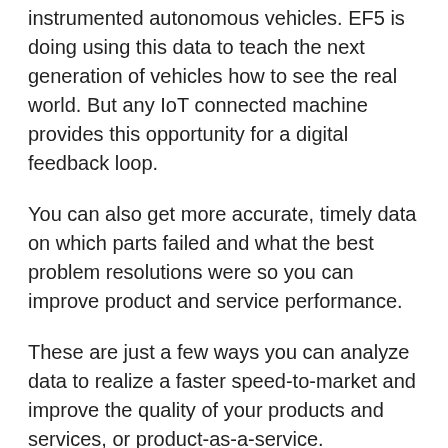instrumented autonomous vehicles. EF5 is doing using this data to teach the next generation of vehicles how to see the real world. But any IoT connected machine provides this opportunity for a digital feedback loop.
You can also get more accurate, timely data on which parts failed and what the best problem resolutions were so you can improve product and service performance.
These are just a few ways you can analyze data to realize a faster speed-to-market and improve the quality of your products and services, or product-as-a-service.
Microsoft will continue to support our customers and partners in this journey and look forward to seeing what the future holds for us together in partnership along the way.
Learn more about Microsoft's commitment to the automotive industry and see how the capabilities of our solutions accelerate vehicle development, increase